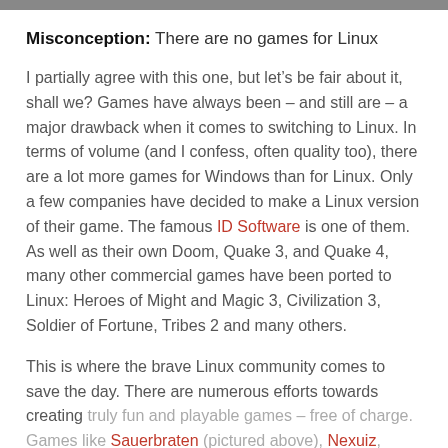[Figure (photo): Thin dark image bar at the top of the page, partially cropped photo]
Misconception: There are no games for Linux
I partially agree with this one, but let’s be fair about it, shall we? Games have always been – and still are – a major drawback when it comes to switching to Linux. In terms of volume (and I confess, often quality too), there are a lot more games for Windows than for Linux. Only a few companies have decided to make a Linux version of their game. The famous ID Software is one of them. As well as their own Doom, Quake 3, and Quake 4, many other commercial games have been ported to Linux: Heroes of Might and Magic 3, Civilization 3, Soldier of Fortune, Tribes 2 and many others.
This is where the brave Linux community comes to save the day. There are numerous efforts towards creating truly fun and playable games – free of charge. Games like Sauerbraten (pictured above), Nexuiz, Wolfenstein: Enemy Territory, FlightGear...